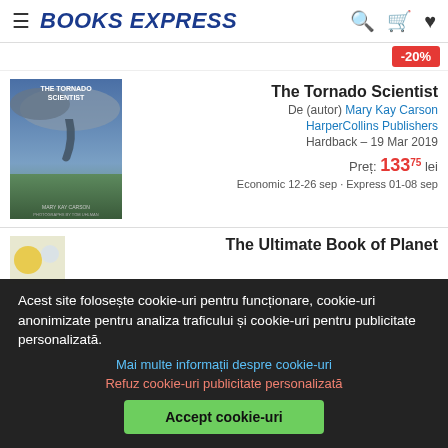BOOKS EXPRESS
-20%
The Tornado Scientist
De (autor) Mary Kay Carson
HarperCollins Publishers
Hardback – 19 Mar 2019
Preț: 133 75 lei
Economic 12-26 sep · Express 01-08 sep
[Figure (photo): Book cover of The Tornado Scientist]
The Ultimate Book of Planet
[Figure (photo): Partial book cover of second book]
Acest site folosește cookie-uri pentru funcționare, cookie-uri anonimizate pentru analiza traficului și cookie-uri pentru publicitate personalizată.
Mai multe informații despre cookie-uri
Refuz cookie-uri publicitate personalizată
Accept cookie-uri